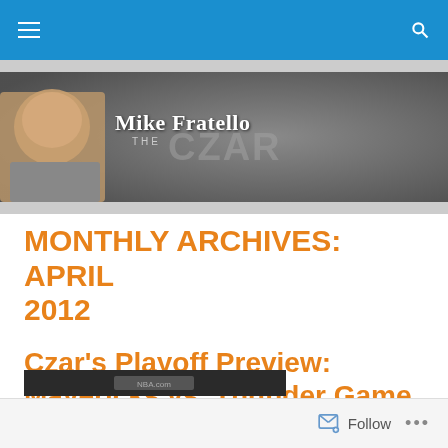Navigation bar with hamburger menu and search icon
[Figure (illustration): Mike Fratello 'The Czar' blog banner with grayscale basketball crowd background and portrait photo of Mike Fratello on the left]
MONTHLY ARCHIVES: APRIL 2012
Czar's Playoff Preview: Mavericks vs. Thunder Game 2
Follow ...